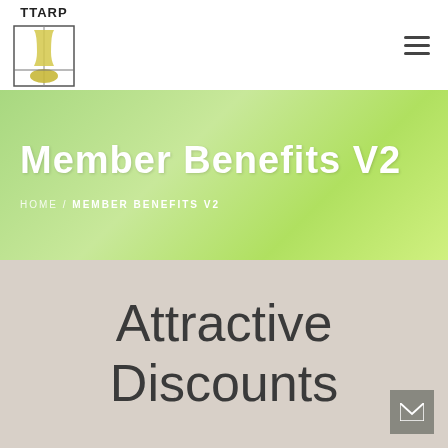TTARP logo and navigation menu
Member Benefits V2
HOME / MEMBER BENEFITS V2
Attractive Discounts